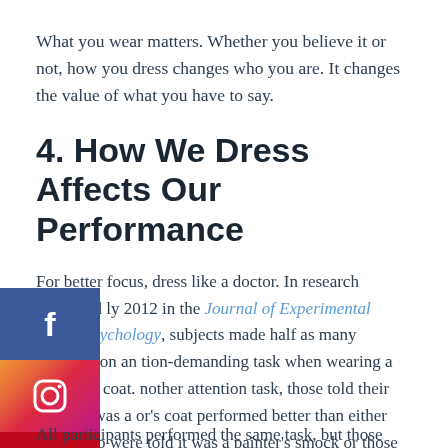What you wear matters. Whether you believe it or not, how you dress changes who you are. It changes the value of what you have to say.
4. How We Dress Affects Our Performance
For better focus, dress like a doctor. In research published ly 2012 in the Journal of Experimental Social Psychology, subjects made half as many mistakes on an tion-demanding task when wearing a white lab coat. nother attention task, those told their lab coat was a or's coat performed better than either those who were told it was a painter's smock or those who merely saw a doctor's coat on display. —Matthew Hutson
[Figure (infographic): Social media share buttons sidebar: Facebook (blue), Instagram (gradient orange-red-purple), Pinterest (red)]
All participants performed the same task, but those...